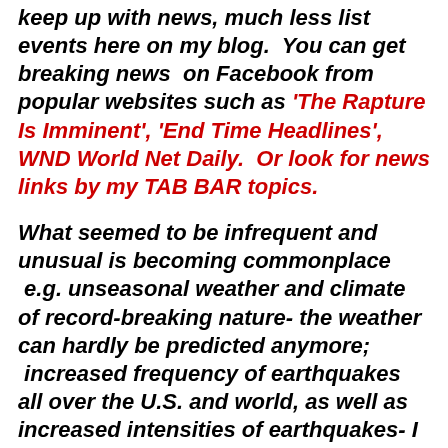keep up with news, much less list events here on my blog.  You can get breaking news  on Facebook from popular websites such as 'The Rapture Is Imminent', 'End Time Headlines', WND World Net Daily.  Or look for news links by my TAB BAR topics.
What seemed to be infrequent and unusual is becoming commonplace  e.g. unseasonal weather and climate of record-breaking nature- the weather can hardly be predicted anymore;  increased frequency of earthquakes all over the U.S. and world, as well as increased intensities of earthquakes- I used to keep a log, but it was taking up too much time; volcanoes 'waking' up and threatening civilization; birds, sea life, animal deaths continue without explanation; more signs and noises reported from the earth and in the skies; more economic crisis and social unrest